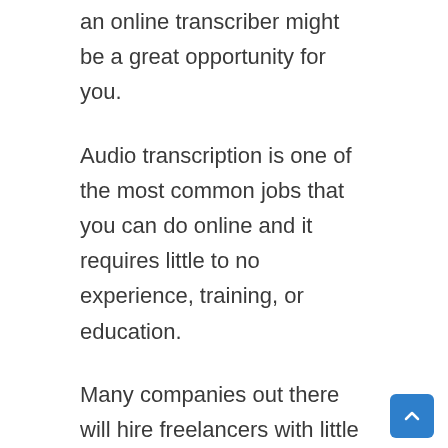an online transcriber might be a great opportunity for you.
Audio transcription is one of the most common jobs that you can do online and it requires little to no experience, training, or education.
Many companies out there will hire freelancers with little to no previous work experience in the field, which makes this a great opportunity for people that are just entering the online workforce or looking to make some extra money online.
The hourly rate will vary depending on how fast you are able to transcribe the file, but most online transcription jobs will pay somewhere between $10